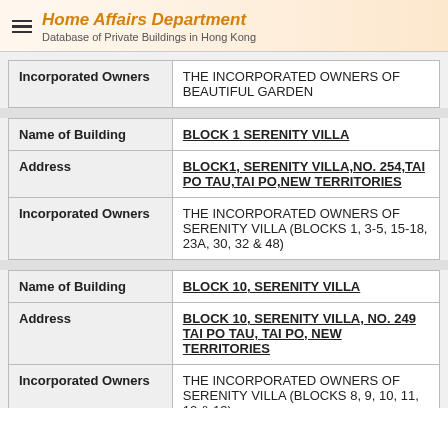Home Affairs Department
Database of Private Buildings in Hong Kong
| Incorporated Owners | THE INCORPORATED OWNERS OF BEAUTIFUL GARDEN |
| Name of Building | BLOCK 1 SERENITY VILLA |
| Address | BLOCK1, SERENITY VILLA,NO. 254,TAI PO TAU,TAI PO,NEW TERRITORIES |
| Incorporated Owners | THE INCORPORATED OWNERS OF SERENITY VILLA (BLOCKS 1, 3-5, 15-18, 23A, 30, 32 & 48) |
| Name of Building | BLOCK 10, SERENITY VILLA |
| Address | BLOCK 10, SERENITY VILLA, NO. 249 TAI PO TAU, TAI PO, NEW TERRITORIES |
| Incorporated Owners | THE INCORPORATED OWNERS OF SERENITY VILLA (BLOCKS 8, 9, 10, 11, 12 & 13) |